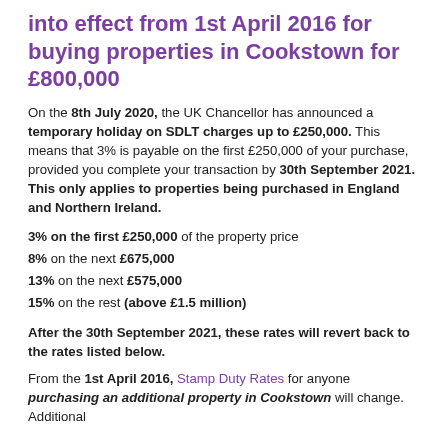into effect from 1st April 2016 for buying properties in Cookstown for £800,000
On the 8th July 2020, the UK Chancellor has announced a temporary holiday on SDLT charges up to £250,000. This means that 3% is payable on the first £250,000 of your purchase, provided you complete your transaction by 30th September 2021. This only applies to properties being purchased in England and Northern Ireland.
3% on the first £250,000 of the property price
8% on the next £675,000
13% on the next £575,000
15% on the rest (above £1.5 million)
After the 30th September 2021, these rates will revert back to the rates listed below.
From the 1st April 2016, Stamp Duty Rates for anyone purchasing an additional property in Cookstown will change. Additional